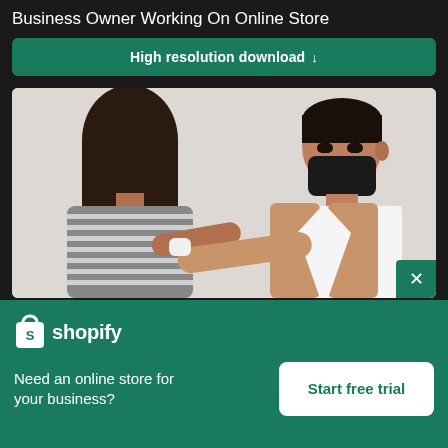Business Owner Working On Online Store
High resolution download ↓
[Figure (photo): Two people in a room doing an elbow bump greeting. The person on the left has long dark hair and is wearing a striped grey top, seen from behind. The person on the right is a man wearing a tan/beige blazer over a white shirt with a black face mask, extending his arm for an elbow bump.]
[Figure (logo): Shopify logo: white shopping bag icon with 'S' on it next to the word 'shopify' in white text]
Need an online store for your business?
Start free trial